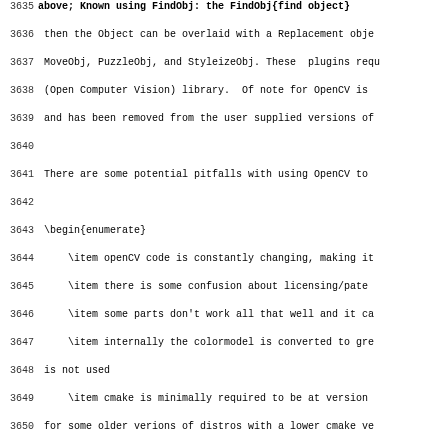then the Object can be overlaid with a Replacement object, MoveObj, PuzzleObj, and StyleizeObj. These plugins require (Open Computer Vision) library. Of note for OpenCV is and has been removed from the user supplied versions of
There are some potential pitfalls with using OpenCV to
\begin{enumerate}
\item openCV code is constantly changing, making it
\item there is some confusion about licensing/pate
\item some parts don't work all that well and it ca
\item internally the colormodel is converted to gre is not used
\item cmake is minimally required to be at version for some older verions of distros with a lower cmake ve really old versions such as Ubuntu14 32/64 bit, it is r
\end{enumerate}
Because of the build size of OpenCV, the source is not Building OpenCV adds a lot of storage demand ($4\,GB$) time is significant. For these reasons, \textit{findob included in System build packages. We recommend using plugins included for consistency and to avoid problems.
\subsection{Adding OpenCV Plugins to the System Package \label{sub:adding_opencv_to_system_builds}
The OpenCV plugins are built only in the 64-bit tarball to size these plugins are not included with pkgs, i.e. easy to add the current plugins for your distro via a s from the static tarball to the cin5 install plugin path